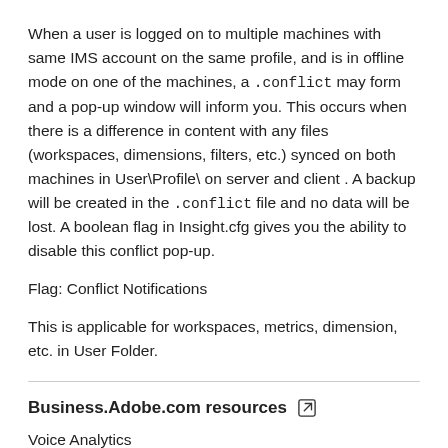When a user is logged on to multiple machines with same IMS account on the same profile, and is in offline mode on one of the machines, a .conflict may form and a pop-up window will inform you. This occurs when there is a difference in content with any files (workspaces, dimensions, filters, etc.) synced on both machines in User\Profile\ on server and client . A backup will be created in the .conflict file and no data will be lost. A boolean flag in Insight.cfg gives you the ability to disable this conflict pop-up.
Flag: Conflict Notifications
This is applicable for workspaces, metrics, dimension, etc. in User Folder.
Business.Adobe.com resources
Voice Analytics